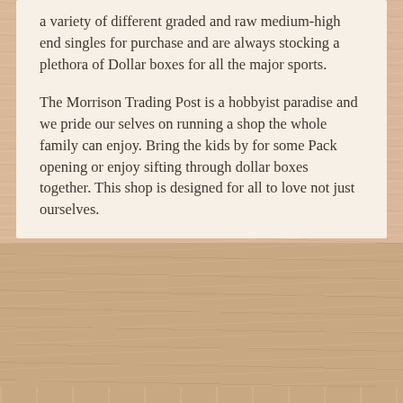a variety of different graded and raw medium-high end singles for purchase and are always stocking a plethora of Dollar boxes for all the major sports.
The Morrison Trading Post is a hobbyist paradise and we pride our selves on running a shop the whole family can enjoy. Bring the kids by for some Pack opening or enjoy sifting through dollar boxes together. This shop is designed for all to love not just ourselves.